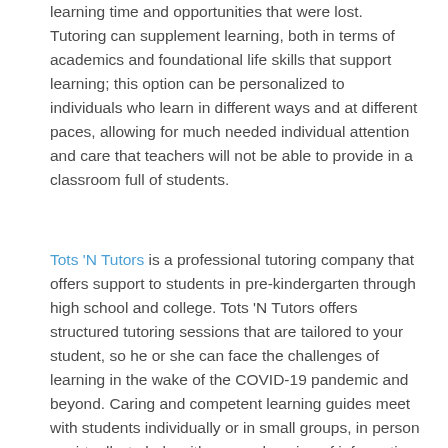learning time and opportunities that were lost. Tutoring can supplement learning, both in terms of academics and foundational life skills that support learning; this option can be personalized to individuals who learn in different ways and at different paces, allowing for much needed individual attention and care that teachers will not be able to provide in a classroom full of students.
Tots 'N Tutors is a professional tutoring company that offers support to students in pre-kindergarten through high school and college. Tots 'N Tutors offers structured tutoring sessions that are tailored to your student, so he or she can face the challenges of learning in the wake of the COVID-19 pandemic and beyond. Caring and competent learning guides meet with students individually or in small groups, in person or virtually, to help with comprehension of information